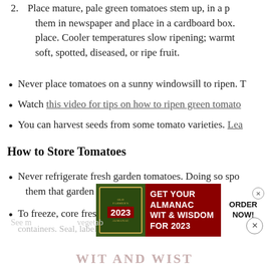2. Place mature, pale green tomatoes stem up, in a p them in newspaper and place in a cardboard box. place. Cooler temperatures slow ripening; warmt soft, spotted, diseased, or ripe fruit.
Never place tomatoes on a sunny windowsill to ripen. T
Watch this video for tips on how to ripen green tomato
You can harvest seeds from some tomato varieties. Lea
How to Store Tomatoes
Never refrigerate fresh garden tomatoes. Doing so spo them that garden tomato taste.
To freeze, core fresh and unblemished tomatoes an containers. Seal, label, and freeze. The skins will slip o
[Figure (photo): Old Farmer's Almanac 2023 advertisement banner: GET YOUR ALMANAC WIT & WISDOM FOR 2023, ORDER NOW!]
See m vegetab
WIT AND WIST